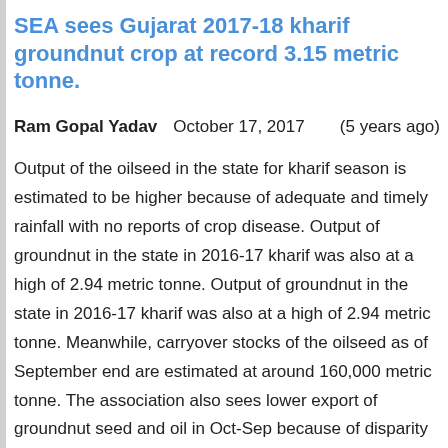SEA sees Gujarat 2017-18 kharif groundnut crop at record 3.15 metric tonne.
Ram Gopal Yadav   October 17, 2017   (5 years ago)
Output of the oilseed in the state for kharif season is estimated to be higher because of adequate and timely rainfall with no reports of crop disease. Output of groundnut in the state in 2016-17 kharif was also at a high of 2.94 metric tonne. Output of groundnut in the state in 2016-17 kharif was also at a high of 2.94 metric tonne. Meanwhile, carryover stocks of the oilseed as of September end are estimated at around 160,000 metric tonne. The association also sees lower export of groundnut seed and oil in Oct-Sep because of disparity in the international market.